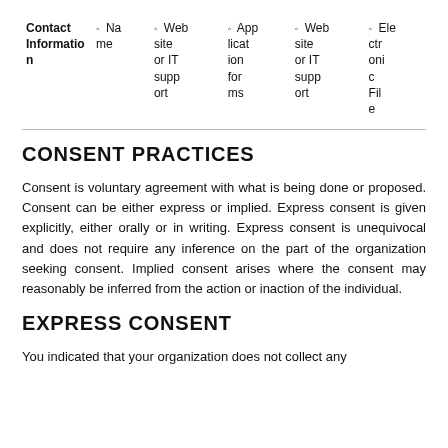| Contact Information | Name | Website or IT support | Application forms | Website or IT support | Electronic File |
| --- | --- | --- | --- | --- | --- |
CONSENT PRACTICES
Consent is voluntary agreement with what is being done or proposed. Consent can be either express or implied. Express consent is given explicitly, either orally or in writing. Express consent is unequivocal and does not require any inference on the part of the organization seeking consent. Implied consent arises where the consent may reasonably be inferred from the action or inaction of the individual.
EXPRESS CONSENT
You indicated that your organization does not collect any